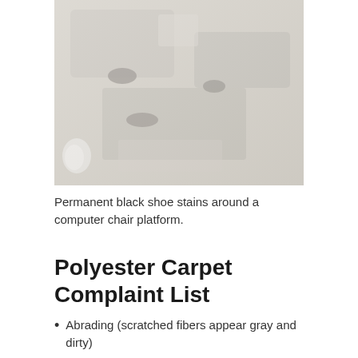[Figure (photo): Close-up photograph of light beige/gray carpet showing permanent dark shoe stains around a computer chair platform area. The carpet shows rectangular shaped imprints with darker discoloration.]
Permanent black shoe stains around a computer chair platform.
Polyester Carpet Complaint List
Abrading (scratched fibers appear gray and dirty)